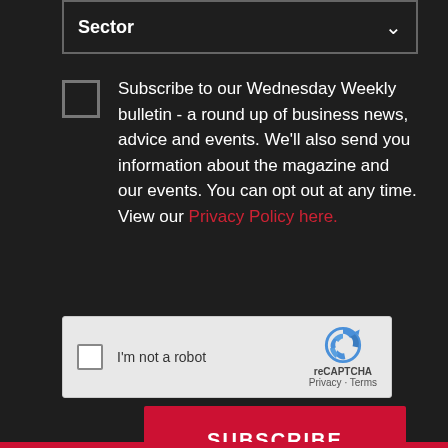Sector
Subscribe to our Wednesday Weekly bulletin - a round up of business news, advice and events. We'll also send you information about the magazine and our events. You can opt out at any time. View our Privacy Policy here.
[Figure (screenshot): reCAPTCHA widget with checkbox labeled I'm not a robot, reCAPTCHA logo, Privacy and Terms links]
SUBSCRIBE